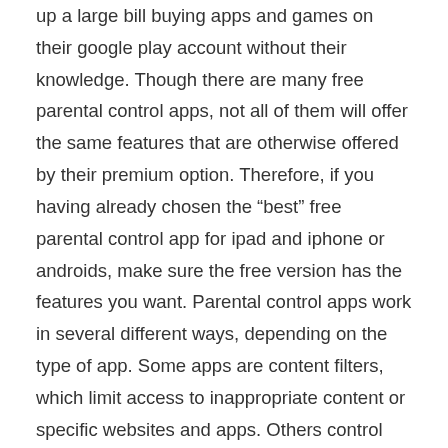up a large bill buying apps and games on their google play account without their knowledge. Though there are many free parental control apps, not all of them will offer the same features that are otherwise offered by their premium option. Therefore, if you having already chosen the “best” free parental control app for ipad and iphone or androids, make sure the free version has the features you want. Parental control apps work in several different ways, depending on the type of app. Some apps are content filters, which limit access to inappropriate content or specific websites and apps. Others control the usage of your child’s phone or tablet by setting time limits or restricting phone usage after a certain time. Norton family norton is one of the most deserving of the title “best parental control app” because it gives you a whole six months to experiment on its watertight parental control features. Core features include web filtering, location tracking, video monitoring, and time supervision, amongst others. The best parental control app for the iphone will take some of the hassles to let your kids use the internet